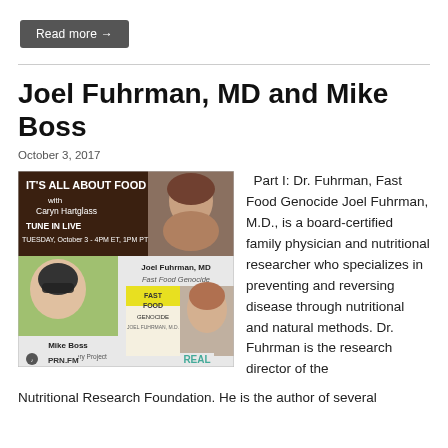Read more →
Joel Fuhrman, MD and Mike Boss
October 3, 2017
[Figure (photo): Podcast promotional image for 'It's All About Food with Caryn Hartglass', featuring Joel Fuhrman MD (Fast Food Genocide) and Mike Boss (The Edible Nursery Project), PRN.FM, Tuesday October 3 - 4PM ET, 1PM PT]
Part I: Dr. Fuhrman, Fast Food Genocide Joel Fuhrman, M.D., is a board-certified family physician and nutritional researcher who specializes in preventing and reversing disease through nutritional and natural methods. Dr. Fuhrman is the research director of the Nutritional Research Foundation. He is the author of several